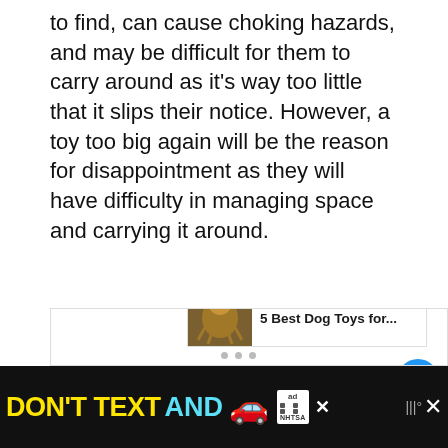to find, can cause choking hazards, and may be difficult for them to carry around as it's way too little that it slips their notice. However, a toy too big again will be the reason for disappointment as they will have difficulty in managing space and carrying it around.
[Figure (screenshot): Image carousel placeholder with heart/like button showing count of 1, share button, dark right strip, and 'What's Next' panel showing '5 Best Dog Toys for...' with pagination dots]
[Figure (infographic): Ad banner: DON'T TEXT AND with car emoji, ad badge, NHTSA logo, and close buttons]